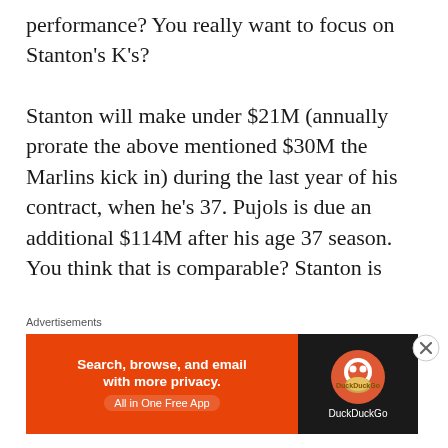performance? You really want to focus on Stanton's K's?

Stanton will make under $21M (annually prorate the above mentioned $30M the Marlins kick in) during the last year of his contract, when he's 37. Pujols is due an additional $114M after his age 37 season. You think that is comparable? Stanton is
Advertisements
[Figure (other): Advertisement banner for DuckDuckGo app. Orange background on left with text 'Search, browse, and email with more privacy. All in One Free App'. Dark background on right with DuckDuckGo logo and text.]